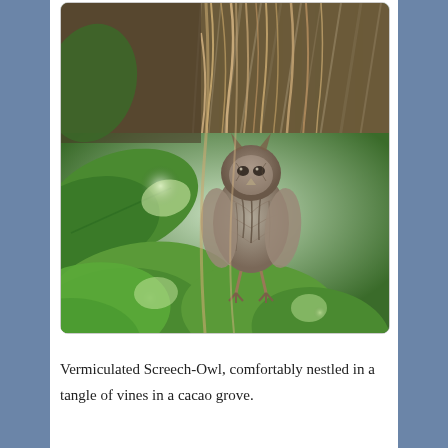[Figure (photo): A Vermiculated Screech-Owl nestled in a tangle of vines and hanging roots in a cacao grove. The owl is visible in the center of the image, surrounded by green leaves in the foreground and dried palm-like fronds and tangled vine roots in the background.]
Vermiculated Screech-Owl, comfortably nestled in a tangle of vines in a cacao grove.